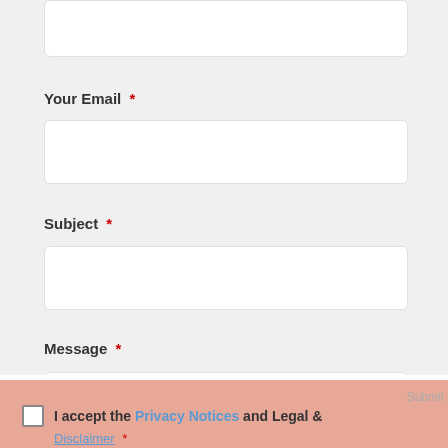[Figure (screenshot): Partial view of a web contact form showing fields for Your Email, Subject, and Message, along with a cookie consent overlay and acceptance bar at the bottom.]
Your Email *
Subject *
Message *
We use cookies and other technologies to improve your browsing experience. By continuing to use our website without changing your settings, you agree to our use of cookies. To find out more, see the Privacy Notice and Legal Notice and Disclaimer.
I accept the Privacy Notices and Legal & Disclaimer *